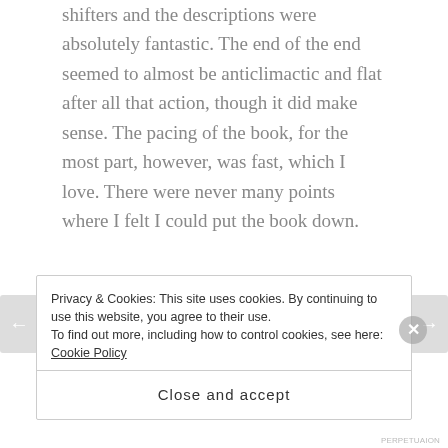shifters and the descriptions were absolutely fantastic. The end of the end seemed to almost be anticlimactic and flat after all that action, though it did make sense. The pacing of the book, for the most part, however, was fast, which I love. There were never many points where I felt I could put the book down.
But about that  docked star: A little bit of it is the ending, but not a lot of it. Most of it came from Dez and Caleb’s relationship. I hate insta-love. I will forever and always dock stars for insta-love. The
Privacy & Cookies: This site uses cookies. By continuing to use this website, you agree to their use.
To find out more, including how to control cookies, see here: Cookie Policy
Close and accept